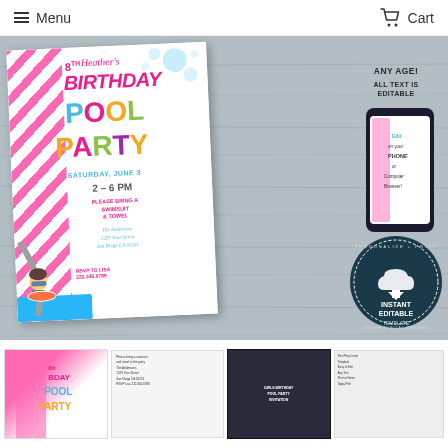Menu  Cart
[Figure (illustration): A pool party birthday invitation for Heather's 8th Birthday Pool Party, Saturday June 3, 2-6 PM, with colorful bubble letters spelling POOL PARTY, a cartoon girl on a pool slide, pink diagonal stripes. To the right: 'ANY AGE! ALL TEXT IS EDITABLE', a phone mockup, and an 'INSTANT EDITABLE TEMPLATE' badge. Background is gray wood texture.]
[Figure (illustration): Four thumbnail preview images of the pool party invitation template at bottom of page.]